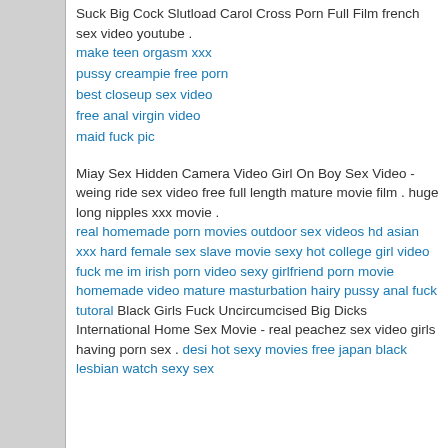Suck Big Cock Slutload Carol Cross Porn Full Film french sex video youtube . make teen orgasm xxx pussy creampie free porn best closeup sex video free anal virgin video maid fuck pic
Miay Sex Hidden Camera Video Girl On Boy Sex Video - weing ride sex video free full length mature movie film . huge long nipples xxx movie . real homemade porn movies outdoor sex videos hd asian xxx hard female sex slave movie sexy hot college girl video fuck me im irish porn video sexy girlfriend porn movie homemade video mature masturbation hairy pussy anal fuck tutoral Black Girls Fuck Uncircumcised Big Dicks International Home Sex Movie - real peachez sex video girls having porn sex . desi hot sexy movies free japan black lesbian watch sexy sex